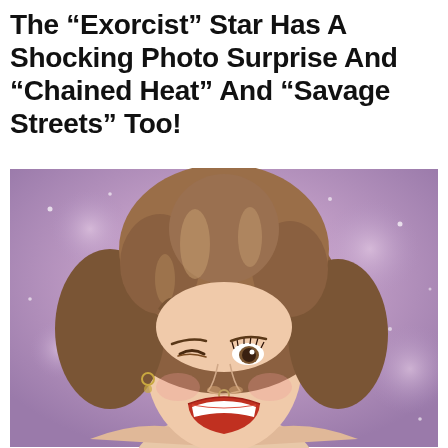The “Exorcist” Star Has A Shocking Photo Surprise And “Chained Heat” And “Savage Streets” Too!
[Figure (photo): A woman with large curly voluminous 1980s-style blonde/brown hair, winking one eye and laughing with mouth open wide, photographed against a soft purple/lavender sparkly background. She appears to be wearing minimal clothing visible at the bottom of the frame.]